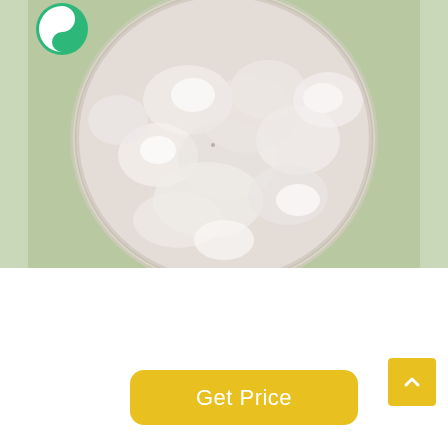[Figure (photo): A glass petri dish filled with white/light pink powder, viewed from above, on a light green background. A green crescent/yin-yang style logo is visible in the top-left corner of the image.]
[Figure (other): Yellow rounded rectangle button with white text reading 'Get Price']
[Figure (other): Yellow square scroll-to-top button with upward chevron arrow icon]